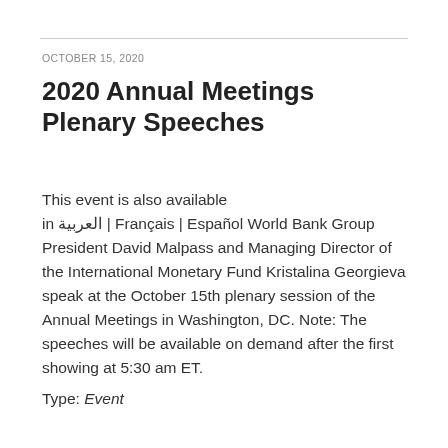OCTOBER 15, 2020
2020 Annual Meetings Plenary Speeches
This event is also available in العربية | Français | Español World Bank Group President David Malpass and Managing Director of the International Monetary Fund Kristalina Georgieva speak at the October 15th plenary session of the Annual Meetings in Washington, DC. Note: The speeches will be available on demand after the first showing at 5:30 am ET.
Type: Event